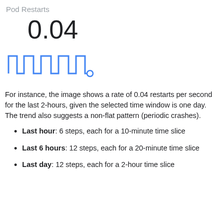Pod Restarts
0.04
[Figure (continuous-plot): A blue step-function sparkline chart showing periodic pod restart patterns with a small circle at the end of the line, suggesting periodic crashes over time.]
For instance, the image shows a rate of 0.04 restarts per second for the last 2-hours, given the selected time window is one day. The trend also suggests a non-flat pattern (periodic crashes).
Last hour: 6 steps, each for a 10-minute time slice
Last 6 hours: 12 steps, each for a 20-minute time slice
Last day: 12 steps, each for a 2-hour time slice